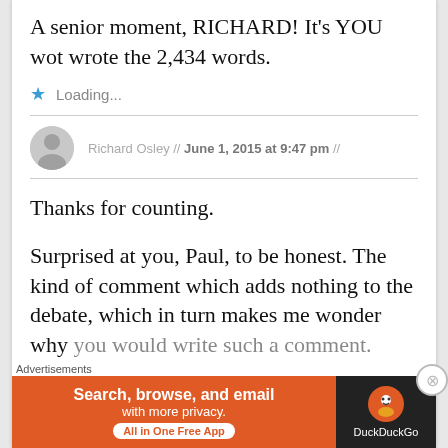A senior moment, RICHARD! It's YOU wot wrote the 2,434 words.
Loading...
Richard Osley // June 1, 2015 at 9:47 pm //
Thanks for counting.
Surprised at you, Paul, to be honest. The kind of comment which adds nothing to the debate, which in turn makes me wonder why you would write such a comment.
[Figure (screenshot): DuckDuckGo advertisement banner: orange background with text 'Search, browse, and email with more privacy. All in One Free App' and DuckDuckGo logo on dark right panel.]